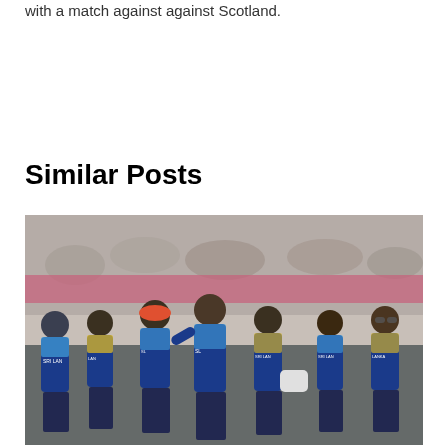with a match against against Scotland.
Similar Posts
[Figure (photo): Sri Lanka cricket team players wearing blue and yellow Sri Lanka jerseys walking together on a cricket field, with a blurred stadium crowd in the background.]